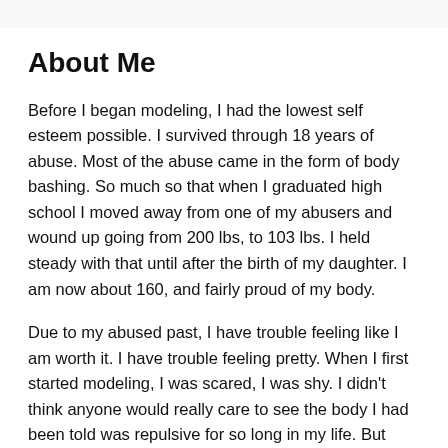About Me
Before I began modeling, I had the lowest self esteem possible. I survived through 18 years of abuse. Most of the abuse came in the form of body bashing. So much so that when I graduated high school I moved away from one of my abusers and wound up going from 200 lbs, to 103 lbs. I held steady with that until after the birth of my daughter. I am now about 160, and fairly proud of my body.
Due to my abused past, I have trouble feeling like I am worth it. I have trouble feeling pretty. When I first started modeling, I was scared, I was shy. I didn't think anyone would really care to see the body I had been told was repulsive for so long in my life. But after seeing the photos come back from my very first shoot, I found myself crying tears of joy. The woman I saw in the photos, was someone I never knew existed. A strong, proud woman. A woman who no longer hid behind her hair, or